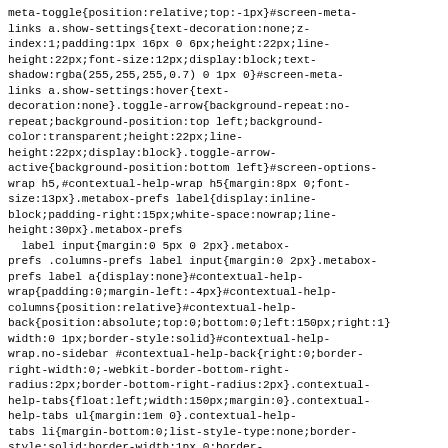meta-toggle{position:relative;top:-1px}#screen-meta-links a.show-settings{text-decoration:none;z-index:1;padding:1px 16px 0 6px;height:22px;line-height:22px;font-size:12px;display:block;text-shadow:rgba(255,255,255,0.7) 0 1px 0}#screen-meta-links a.show-settings:hover{text-decoration:none}.toggle-arrow{background-repeat:no-repeat;background-position:top left;background-color:transparent;height:22px;line-height:22px;display:block}.toggle-arrow-active{background-position:bottom left}#screen-options-wrap h5,#contextual-help-wrap h5{margin:8px 0;font-size:13px}.metabox-prefs label{display:inline-block;padding-right:15px;white-space:nowrap;line-height:30px}.metabox-prefs
  label input{margin:0 5px 0 2px}.metabox-prefs .columns-prefs label input{margin:0 2px}.metabox-prefs label a{display:none}#contextual-help-wrap{padding:0;margin-left:-4px}#contextual-help-columns{position:relative}#contextual-help-back{position:absolute;top:0;bottom:0;left:150px;right:1}width:0 1px;border-style:solid}#contextual-help-wrap.no-sidebar #contextual-help-back{right:0;border-right-width:0;-webkit-border-bottom-right-radius:2px;border-bottom-right-radius:2px}.contextual-help-tabs{float:left;width:150px;margin:0}.contextual-help-tabs ul{margin:1em 0}.contextual-help-tabs li{margin-bottom:0;list-style-type:none;border-style:solid;border-width:1px 0;border-color:transparent}.contextual-help-tabs a{display:block;padding:5px 5px 5px 12px;line-